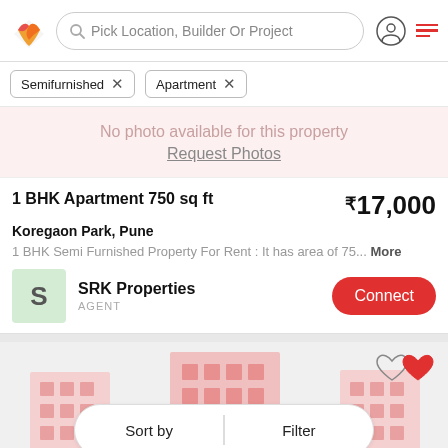Pick Location, Builder Or Project
Semifurnished ×
Apartment ×
[Figure (illustration): No photo available banner with pink background]
No photo available for this property
Request Photos
1 BHK Apartment 750 sq ft  ₹17,000
Koregaon Park, Pune
1 BHK Semi Furnished Property For Rent : It has area of 75... More
SRK Properties  AGENT  Connect
[Figure (illustration): Building illustration with Sort by and Filter overlay buttons and heart/like icon in top right]